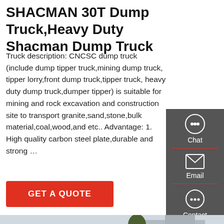SHACMAN 30T Dump Truck,Heavy Duty Shacman Dump Truck
Truck description: CNCSC dump truck (include dump tipper truck,mining dump truck, tipper lorry,front dump truck,tipper truck, heavy duty dump truck,dumper tipper) is suitable for mining and rock excavation and construction site to transport granite,sand,stone,bulk material,coal,wood,and etc.. Advantage: 1. High quality carbon steel plate,durable and strong …
GET A QUOTE
[Figure (other): Red SHACMAN heavy duty dump truck photographed from the side, showing the large red cargo bed/tipper with chevron pattern ribs, parked at a construction or industrial site.]